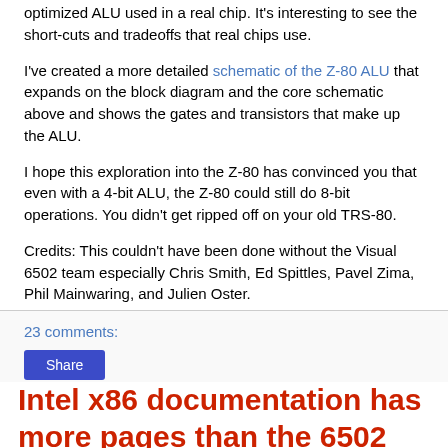optimized ALU used in a real chip. It's interesting to see the short-cuts and tradeoffs that real chips use.
I've created a more detailed schematic of the Z-80 ALU that expands on the block diagram and the core schematic above and shows the gates and transistors that make up the ALU.
I hope this exploration into the Z-80 has convinced you that even with a 4-bit ALU, the Z-80 could still do 8-bit operations. You didn't get ripped off on your old TRS-80.
Credits: This couldn't have been done without the Visual 6502 team especially Chris Smith, Ed Spittles, Pavel Zima, Phil Mainwaring, and Julien Oster.
23 comments:
Share
Intel x86 documentation has more pages than the 6502 has transistors